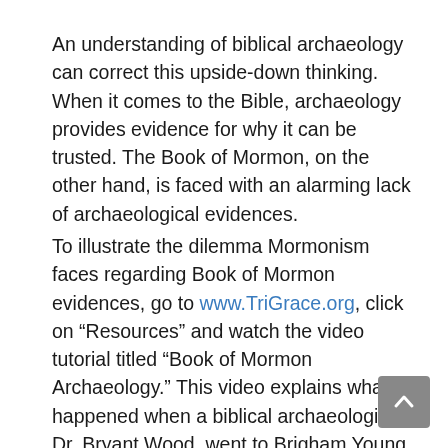An understanding of biblical archaeology can correct this upside-down thinking. When it comes to the Bible, archaeology provides evidence for why it can be trusted. The Book of Mormon, on the other hand, is faced with an alarming lack of archaeological evidences.
To illustrate the dilemma Mormonism faces regarding Book of Mormon evidences, go to www.TriGrace.org, click on “Resources” and watch the video tutorial titled “Book of Mormon Archaeology.” This video explains what happened when a biblical archaeologist, Dr. Bryant Wood, went to Brigham Young University to talk with a Mormon archaeologist, Dr. Kerry Muhlestein. Their candid conversation reveals the fact that no archaeology in the New World has been found that supports any person, place, or event mentioned in the Book of